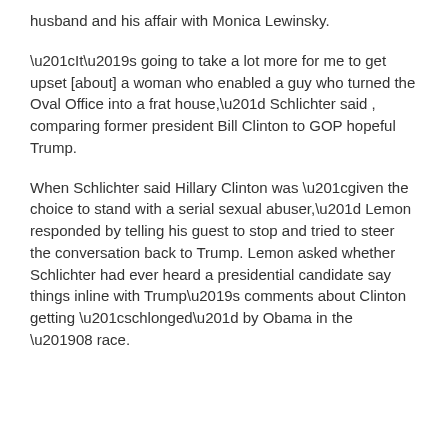husband and his affair with Monica Lewinsky.
“It’s going to take a lot more for me to get upset [about] a woman who enabled a guy who turned the Oval Office into a frat house,” Schlichter said , comparing former president Bill Clinton to GOP hopeful Trump.
When Schlichter said Hillary Clinton was “given the choice to stand with a serial sexual abuser,” Lemon responded by telling his guest to stop and tried to steer the conversation back to Trump. Lemon asked whether Schlichter had ever heard a presidential candidate say things inline with Trump’s comments about Clinton getting “schlonged” by Obama in the ’08 race.